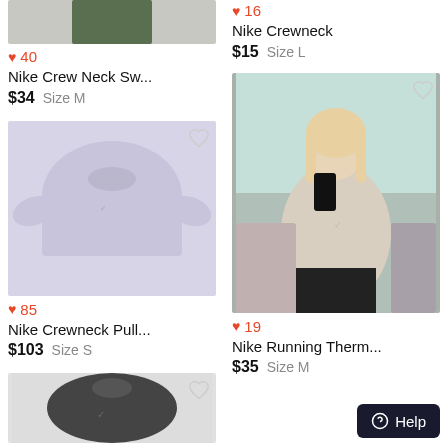[Figure (photo): Partial top of first product - Nike crew neck sweatshirt cropped at top]
♥ 40
Nike Crew Neck Sw...
$34  Size M
[Figure (photo): Nike Crewneck product listing - heart count 16]
♥ 16
Nike Crewneck
$15  Size L
[Figure (photo): Light purple/lavender Nike crewneck sweatshirt laid flat]
♥ 85
Nike Crewneck Pull...
$103  Size S
[Figure (photo): Person wearing beige Nike crewneck sweatshirt taking mirror selfie]
♥ 19
Nike Running Therm...
$35  Size M
[Figure (photo): Partial view of dark Nike sweatshirt at bottom left]
[Figure (photo): Partial view of another item at bottom right (cropped)]